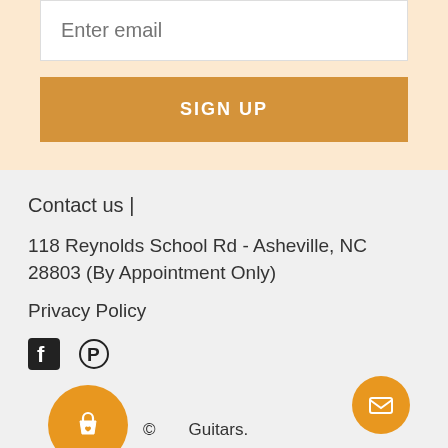Enter email
SIGN UP
Contact us |
118 Reynolds School Rd - Asheville, NC 28803 (By Appointment Only)
Privacy Policy
[Figure (infographic): Social media icons: Facebook and Pinterest]
© Guitars.
[Figure (infographic): Payment method icons: AMEX, Apple Pay, Diners Club, Discover, Meta Pay, Google Pay, Mastercard, PayPal]